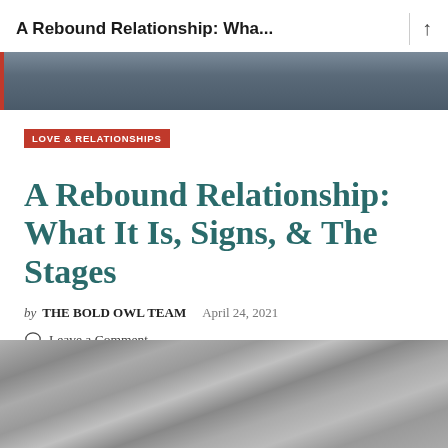A Rebound Relationship: Wha...
[Figure (photo): Partial photo strip at top of article page showing legs/sneakers on a surface]
LOVE & RELATIONSHIPS
A Rebound Relationship: What It Is, Signs, & The Stages
by THE BOLD OWL TEAM   April 24, 2021
Leave a Comment
[Figure (photo): Black and white photo of foliage/grass, partially cropped at page bottom]